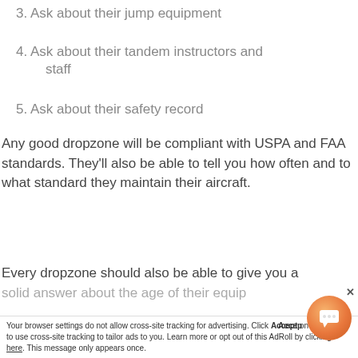3. Ask about their jump equipment
4. Ask about their tandem instructors and staff
5. Ask about their safety record
Any good dropzone will be compliant with USPA and FAA standards. They'll also be able to tell you how often and to what standard they maintain their aircraft.
Every dropzone should also be able to give you a solid answer about the age of their equip...
Your browser settings do not allow cross-site tracking for advertising. Click 'Accept' on this AdRoll to use cross-site tracking to tailor ads to you. Learn more or opt out of this AdRoll by clicking here. This message only appears once.